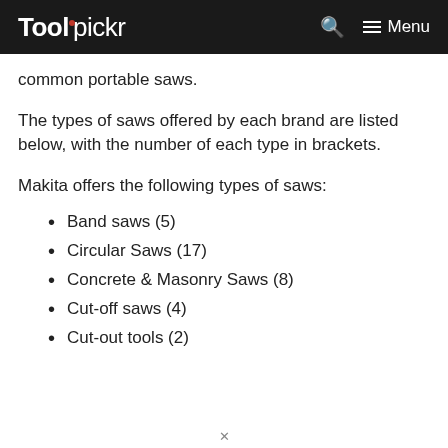Toolpickr — Menu
common portable saws.
The types of saws offered by each brand are listed below, with the number of each type in brackets.
Makita offers the following types of saws:
Band saws (5)
Circular Saws (17)
Concrete & Masonry Saws (8)
Cut-off saws (4)
Cut-out tools (2)